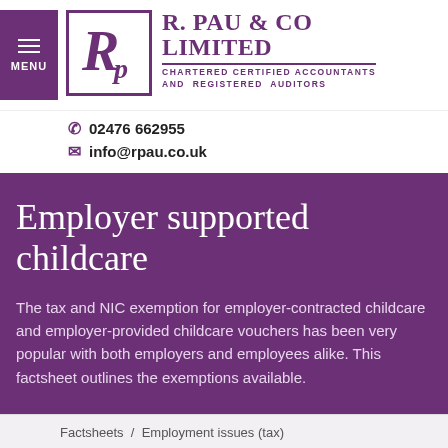[Figure (logo): R. Pau & Co Limited logo — purple bordered box with stylised R and p letters, company name in purple serif font, subtitle CHARTERED CERTIFIED ACCOUNTANTS AND REGISTERED AUDITORS]
02476 662955
info@rpau.co.uk
Employer supported childcare
The tax and NIC exemption for employer-contracted childcare and employer-provided childcare vouchers has been very popular with both employers and employees alike. This factsheet outlines the exemptions available.
Factsheets / Employment issues (tax)